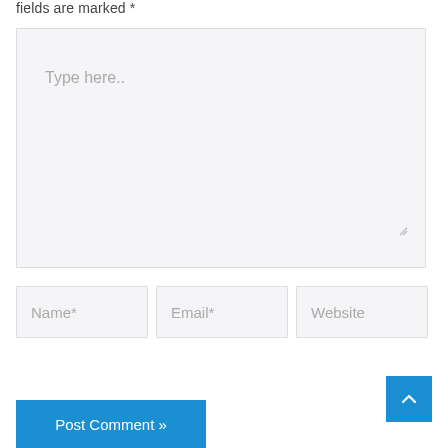fields are marked *
[Figure (screenshot): Large text area input box with placeholder text 'Type here..' and a resize handle at bottom right]
[Figure (screenshot): Three input fields in a row: Name*, Email*, Website]
[Figure (screenshot): Blue 'Post Comment »' button on the left and a blue scroll-to-top arrow button on the right]